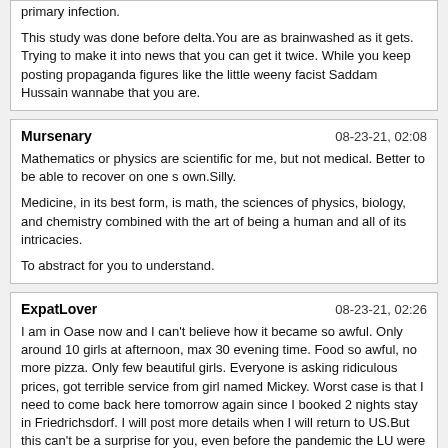primary infection.

This study was done before delta.You are as brainwashed as it gets. Trying to make it into news that you can get it twice. While you keep posting propaganda figures like the little weeny facist Saddam Hussain wannabe that you are.
Mursenary	08-23-21, 02:08
Mathematics or physics are scientific for me, but not medical. Better to be able to recover on one s own.Silly.

Medicine, in its best form, is math, the sciences of physics, biology, and chemistry combined with the art of being a human and all of its intricacies.

To abstract for you to understand.
ExpatLover	08-23-21, 02:26
I am in Oase now and I can't believe how it became so awful. Only around 10 girls at afternoon, max 30 evening time. Food so awful, no more pizza. Only few beautiful girls. Everyone is asking ridiculous prices, got terrible service from girl named Mickey. Worst case is that I need to come back here tomorrow again since I booked 2 nights stay in Friedrichsdorf. I will post more details when I will return to US.But this can't be a surprise for you, even before the pandemic the LU were getting worst and worst, the forums are full of reports explaining the price increase, it is the eternal balance between offer and demand like in every business. On top of that, flying from the US knowing that the covid is around and that the FKK are probably one of the most risky place to get sick looks just denying the reality. But fucking seems for you to be the most important thing in life despite so many warnings.
PaulInZurich	08-23-21, 02:40
... facist ...You forgot again how to spell fascist. No surprise though, you are incapable of learning.